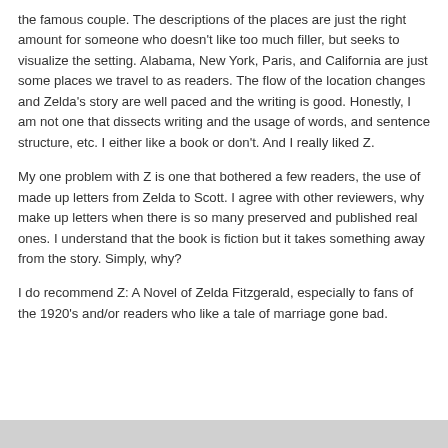the famous couple.  The descriptions of the places are just the right amount for someone who doesn't like too much filler, but seeks to visualize the setting.  Alabama, New York, Paris, and California are just some places we travel to as readers.  The flow of the location changes and Zelda's story are well paced and the writing is good.  Honestly, I am not one that dissects writing and the usage of words, and sentence structure, etc.  I either like a book or don't.  And I really liked Z.
My one problem with Z is one that bothered a few readers, the use of made up letters from Zelda to Scott.  I agree with other reviewers, why make up letters when there is so many preserved and published real ones.  I understand that the book is fiction but it takes something away from the story.  Simply, why?
I do recommend Z:  A Novel of Zelda Fitzgerald, especially to fans of the 1920's and/or readers who like a tale of marriage gone bad.